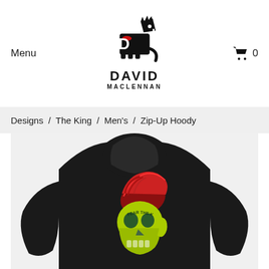Menu  DAVID MACLENNAN  0
Designs  /  The King  /  Men's  /  Zip-Up Hoody
[Figure (photo): Black zip-up hoody displayed from the back, showing a skull with red pompadour hair design on the back. The skull is yellow-green with red decorative hair and text.]